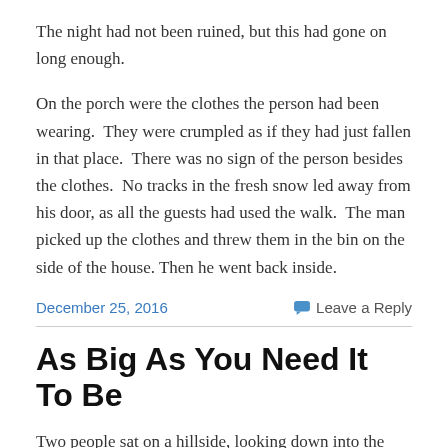The night had not been ruined, but this had gone on long enough.
On the porch were the clothes the person had been wearing.  They were crumpled as if they had just fallen in that place.  There was no sign of the person besides the clothes.  No tracks in the fresh snow led away from his door, as all the guests had used the walk.  The man picked up the clothes and threw them in the bin on the side of the house. Then he went back inside.
December 25, 2016
Leave a Reply
As Big As You Need It To Be
Two people sat on a hillside, looking down into the valley.